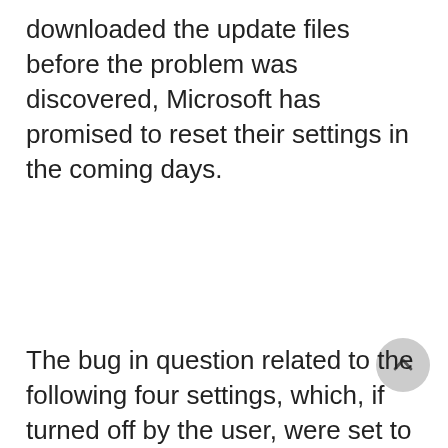downloaded the update files before the problem was discovered, Microsoft has promised to reset their settings in the coming days.
The bug in question related to the following four settings, which, if turned off by the user, were set to